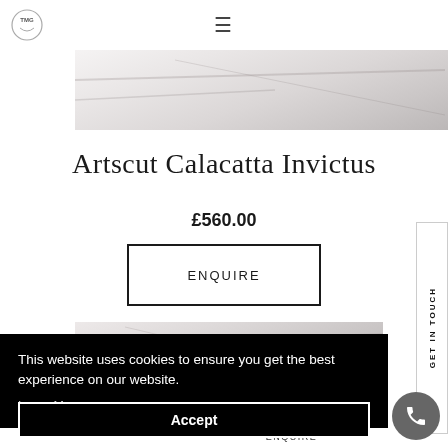TMG logo and navigation hamburger menu
[Figure (photo): Top marble texture image strip showing white and grey veined marble]
Artscut Calacatta Invictus
£560.00
ENQUIRE
[Figure (photo): Bottom marble texture image strip]
This website uses cookies to ensure you get the best experience on our website. Learn More
Accept
ENQUIRE